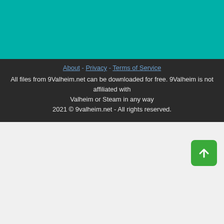[Figure (other): Teal/cyan colored header bar at the top of the page]
About - Privacy - Terms of Service
All files from 9Valheim.net can be downloaded for free. 9Valheim is not affiliated with Valheim or Steam in any way
2021 © 9valheim.net - All rights reserved.
[Figure (other): Green rounded square button with a white upward arrow (back to top button)]